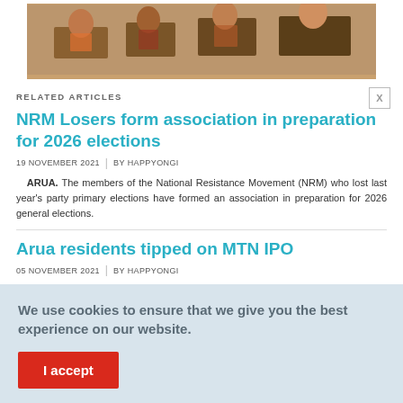[Figure (photo): Photo of people at computers/desks, partially cropped at top of page]
RELATED ARTICLES
NRM Losers form association in preparation for 2026 elections
19 NOVEMBER 2021  |  BY HAPPYONGI
ARUA. The members of the National Resistance Movement (NRM) who lost last year's party primary elections have formed an association in preparation for 2026 general elections.
Arua residents tipped on MTN IPO
05 NOVEMBER 2021  |  BY HAPPYONGI
ARUA. Uganda's leading telecommunication company, MTN Uganda has tipped the residents of Arua City on the newly introduced MTN Initial Public...
We use cookies to ensure that we give you the best experience on our website.